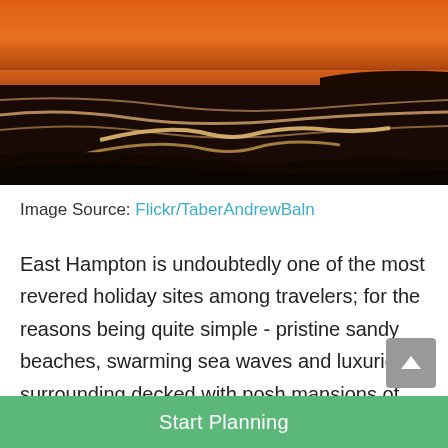[Figure (photo): Sunset beach scene with orange sky, ocean waves reflecting golden light on dark sandy shore, silhouette of distant landmass]
Image Source: Flickr/TaberAndrewBaln
East Hampton is undoubtedly one of the most revered holiday sites among travelers; for the reasons being quite simple - pristine sandy beaches, swarming sea waves and luxurious surrounding decked with posh mansions of Lily
Start Planning